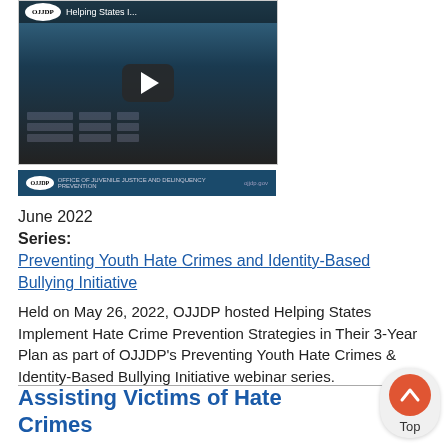[Figure (screenshot): OJJDP YouTube video thumbnail titled 'Helping States I...' with a play button in the center and a table overlay in the background. Below is a dark teal OJJDP branding bar.]
June 2022
Series:
Preventing Youth Hate Crimes and Identity-Based Bullying Initiative
Held on May 26, 2022, OJJDP hosted Helping States Implement Hate Crime Prevention Strategies in Their 3-Year Plan as part of OJJDP’s Preventing Youth Hate Crimes & Identity-Based Bullying Initiative webinar series.
Assisting Victims of Hate Crimes